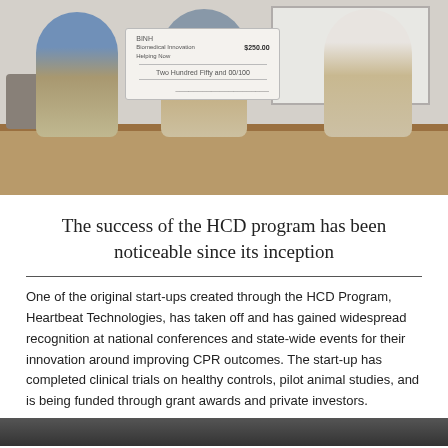[Figure (photo): Three men standing in a conference room holding a large check for $250.00, with a projection screen in the background.]
The success of the HCD program has been noticeable since its inception
One of the original start-ups created through the HCD Program, Heartbeat Technologies, has taken off and has gained widespread recognition at national conferences and state-wide events for their innovation around improving CPR outcomes. The start-up has completed clinical trials on healthy controls, pilot animal studies, and is being funded through grant awards and private investors.
[Figure (photo): Partial photo visible at the bottom of the page, cropped.]